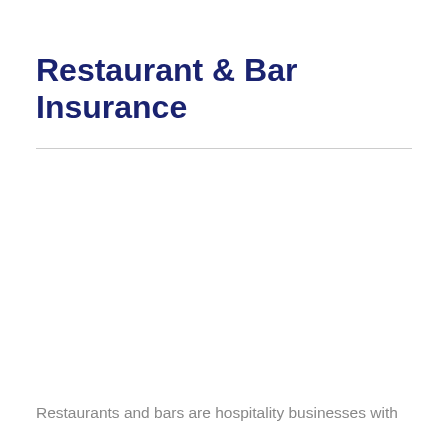Restaurant & Bar Insurance
Restaurants and bars are hospitality businesses with